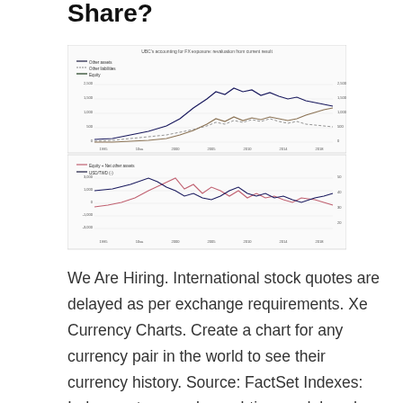Share?
[Figure (continuous-plot): Two-panel line chart showing UBC's accounting for FX exposure metrics over time. Top panel shows Other assets, Other liabilities, and Equity lines from roughly 1995 to 2018, with values ranging from 0 to 2,000. Bottom panel shows Equity + Net other assets and USD/TWD lines over the same period.]
We Are Hiring. International stock quotes are delayed as per exchange requirements. Xe Currency Charts. Create a chart for any currency pair in the world to see their currency history. Source: FactSet Indexes: Index quotes may be real-time or delayed as per exchange requirements; refer to time stamps for information on any delays. Source: FactSet Data are provided 'as is' for informational purposes only and are not intended for trading purposes. These